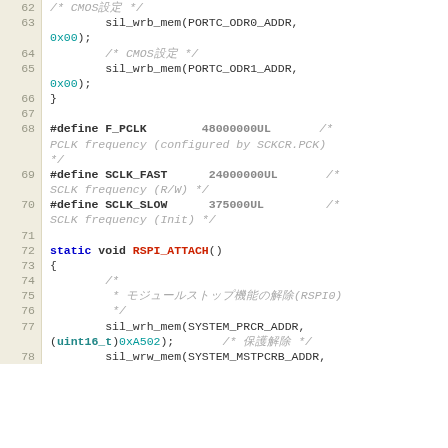[Figure (screenshot): Source code viewer showing C/C++ code lines 62-78, with line numbers on left in beige background, code on white background. Lines include function calls sil_wrb_mem and sil_wrh_mem, preprocessor defines for F_PCLK, SCLK_FAST, SCLK_SLOW, a static void function declaration RSPI_ATTACH(), and multi-line comments in Japanese characters.]